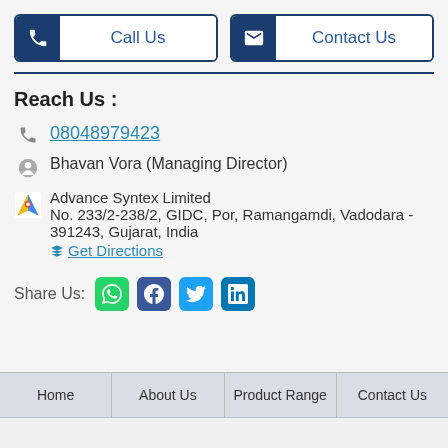[Figure (infographic): Two buttons: 'Call Us' with phone icon and 'Contact Us' with envelope icon, both styled with dark blue icon panels and white label areas with blue border]
Reach Us :
08048979423
Bhavan Vora (Managing Director)
Advance Syntex Limited
No. 233/2-238/2, GIDC, Por, Ramangamdi, Vadodara - 391243, Gujarat, India
Get Directions
Share Us:
[Figure (infographic): Social media share icons: WhatsApp (green), Facebook (blue), Twitter (light blue), LinkedIn (dark blue)]
Home | About Us | Product Range | Contact Us